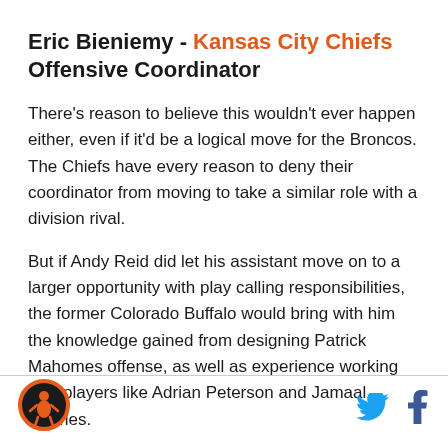Eric Bieniemy - Kansas City Chiefs Offensive Coordinator
There's reason to believe this wouldn't ever happen either, even if it'd be a logical move for the Broncos. The Chiefs have every reason to deny their coordinator from moving to take a similar role with a division rival.
But if Andy Reid did let his assistant move on to a larger opportunity with play calling responsibilities, the former Colorado Buffalo would bring with him the knowledge gained from designing Patrick Mahomes offense, as well as experience working with players like Adrian Peterson and Jamaal Charles.
[Figure (logo): SB Nation / Bleacher Report style sports logo circle in orange and black]
[Figure (illustration): Twitter bird icon in light blue and Facebook f icon in dark blue]